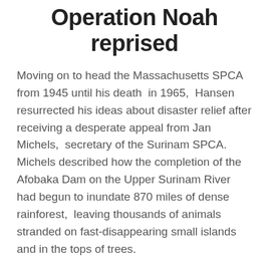Operation Noah reprised
Moving on to head the Massachusetts SPCA from 1945 until his death in 1965, Hansen resurrected his ideas about disaster relief after receiving a desperate appeal from Jan Michels, secretary of the Surinam SPCA. Michels described how the completion of the Afobaka Dam on the Upper Surinam River had begun to inundate 870 miles of dense rainforest, leaving thousands of animals stranded on fast-disappearing small islands and in the tops of trees.
Michels sought funding help for an animal rescue operation modeled after Operation Noah, a now little-remembered and even then obscure rescue